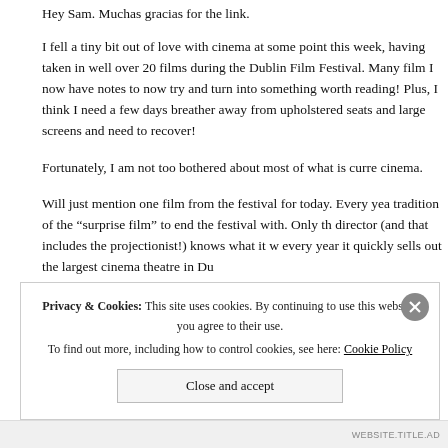Hey Sam. Muchas gracias for the link.
I fell a tiny bit out of love with cinema at some point this week, having taken in well over 20 films during the Dublin Film Festival. Many films I now have notes to now try and turn into something worth reading! Plus, I think I need a few days breather away from upholstered seats and large screens and popcorn smells to need to recover!
Fortunately, I am not too bothered about most of what is currently showing in cinema.
Will just mention one film from the festival for today. Every year there is a tradition of the “surprise film” to end the festival with. Only the festival director (and that includes the projectionist!) knows what it will be, and every year it quickly sells out the largest cinema theatre in Du...
Privacy & Cookies: This site uses cookies. By continuing to use this website, you agree to their use.
To find out more, including how to control cookies, see here: Cookie Policy
Close and accept